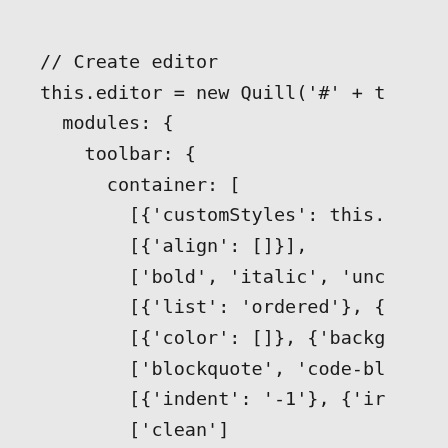// Create editor
this.editor = new Quill('#' + t
  modules: {
    toolbar: {
      container: [
        [{'customStyles': this.
        [{'align': []}],
        ['bold', 'italic', 'unc
        [{'list': 'ordered'}, {
        [{'color': []}, {'backg
        ['blockquote', 'code-bl
        [{'indent': '-1'}, {'ir
        ['clean']
      ],